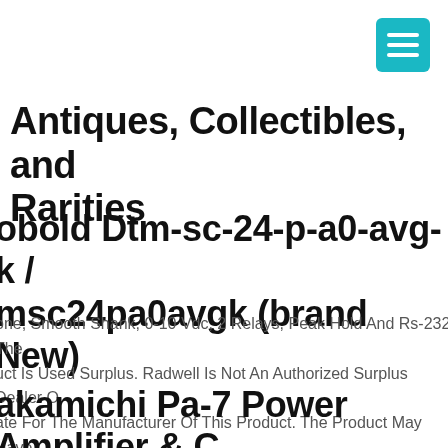Antiques, Collectibles, and Rarities
obold Dtm-sc-24-p-a0-avg-k / msc24pa0avgk (brand New)
one, Smooth Shank, 0-10 Vdc, 2 Relays, Peak Hold And Rs-232. The uct Is Used Surplus. Radwell Is Not An Authorized Surplus Dealer O ate For The Manufacturer Of This Product. The Product May Have er Date Codes Or Be An Older Series Than That Available Direct Fron Factory Or Authorized Dealers.
akamichi Pa-7 Power Amplifier & C Control Amplifier & Yamaha Tx-540 ner